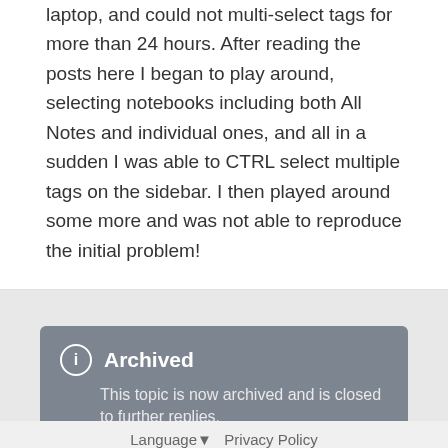laptop, and could not multi-select tags for more than 24 hours. After reading the posts here I began to play around, selecting notebooks including both All Notes and individual ones, and all in a sudden I was able to CTRL select multiple tags on the sidebar. I then played around some more and was not able to reproduce the initial problem!
Archived
This topic is now archived and is closed to further replies.
This topic is now closed to further replies.
Go to topic listing
Language▼   Privacy Policy